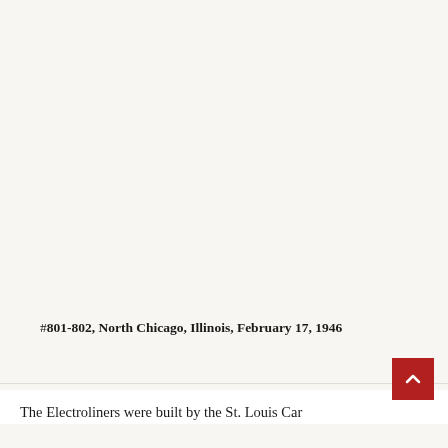[Figure (photo): Blank/empty image area representing a photograph placeholder at the top of the page]
#801-802, North Chicago, Illinois, February 17, 1946
The Electroliners were built by the St. Louis Car